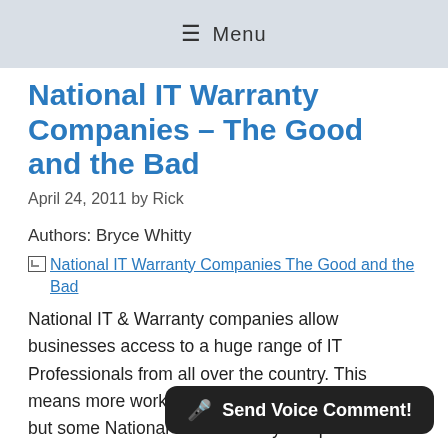≡ Menu
National IT Warranty Companies – The Good and the Bad
April 24, 2011 by Rick
Authors: Bryce Whitty
[Figure (other): Broken image placeholder link: National IT Warranty Companies The Good and the Bad]
National IT & Warranty companies allow businesses access to a huge range of IT Professionals from all over the country. This means more work for us Computer Technicians, but some National IT & Warranty companies also have a dark side. In this article I wo... with "Nationals" and what to watch out for.
🎤 Send Voice Comment!